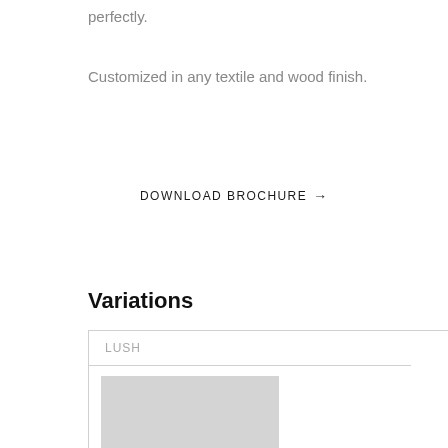perfectly.
Customized in any textile and wood finish.
DOWNLOAD BROCHURE →
Variations
| LUSH |
| --- |
| [image placeholder] |